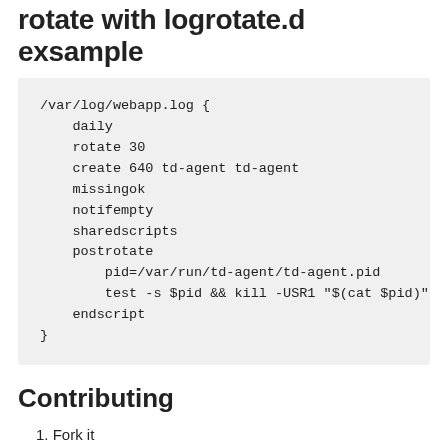rotate with logrotate.d exsample
/var/log/webapp.log {
    daily
    rotate 30
    create 640 td-agent td-agent
    missingok
    notifempty
    sharedscripts
    postrotate
        pid=/var/run/td-agent/td-agent.pid
        test -s $pid && kill -USR1 "$(cat $pid)"
    endscript
}
Contributing
Fork it
Create your feature branch ( git checkout -b my-